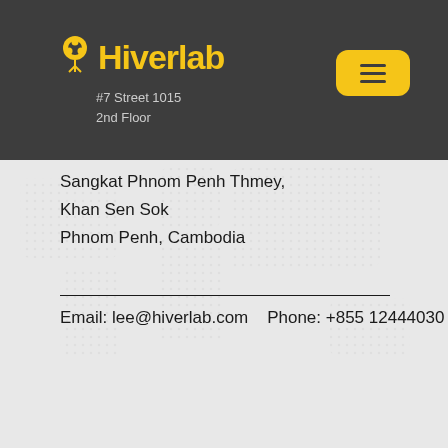#7 Street 1015, 2nd Floor
[Figure (logo): Hiverlab logo with yellow bee icon and yellow text 'Hiverlab' on dark background]
#7 Street 1015
2nd Floor
Sangkat Phnom Penh Thmey,
Khan Sen Sok
Phnom Penh, Cambodia
Email: lee@hiverlab.com   Phone: +855 12444030